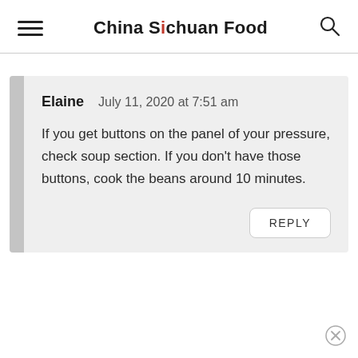China Sichuan Food
Elaine   July 11, 2020 at 7:51 am

If you get buttons on the panel of your pressure, check soup section. If you don't have those buttons, cook the beans around 10 minutes.